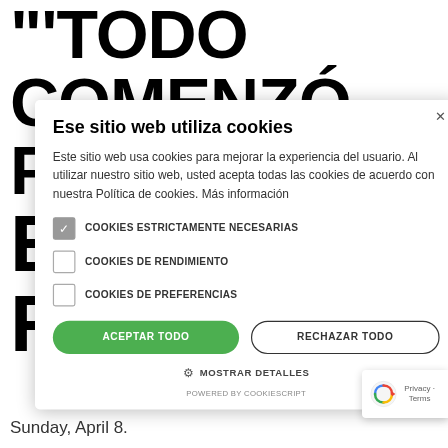"'TODO COMENZÓ POR EL FIN'
[Figure (screenshot): Cookie consent modal dialog overlay on a webpage. Title: 'Ese sitio web utiliza cookies'. Body text: 'Este sitio web usa cookies para mejorar la experiencia del usuario. Al utilizar nuestro sitio web, usted acepta todas las cookies de acuerdo con nuestra Política de cookies. Más información'. Checkboxes: COOKIES ESTRICTAMENTE NECESARIAS (checked), COOKIES DE RENDIMIENTO (unchecked), COOKIES DE PREFERENCIAS (unchecked). Buttons: ACEPTAR TODO (green), RECHAZAR TODO (outline). Settings row: gear icon + MOSTRAR DETALLES. Footer: POWERED BY COOKIESCRIPT.]
o part of the the objective nzó por el fin. 18th Las Festival ial sessi
Sunday, April 8.